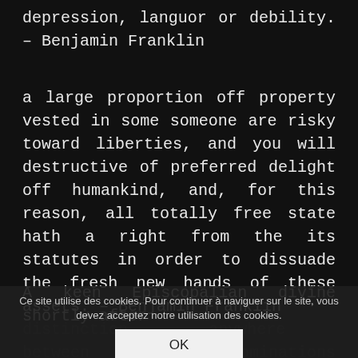depression, languor or debility. – Benjamin Franklin
a large proportion off property vested in some someone are risky toward liberties, and you will destructive of preferred delight off humankind, and, for this reason, all totally free state hath a right from the its statutes in order to dissuade the fresh new hands of these assets. – Benjamin Franklin
A keen Episcopalian divine shortly after
distinction anywhere between their denominations is newest Chapel off Rome to infallible in addition as Cha...
Ce site utilise des cookies. Pour continuer à naviguer sur le site, vous devez acceptez notre utilisation des cookies.
OK